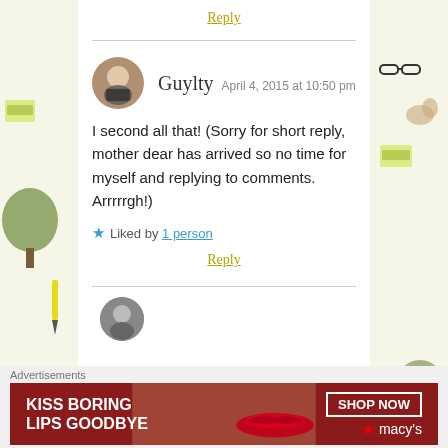Reply
Guylty  April 4, 2015 at 10:50 pm
I second all that! (Sorry for short reply, mother dear has arrived so no time for myself and replying to comments. Arrrrrgh!)
Liked by 1 person
Reply
Advertisements
[Figure (illustration): Macy's advertisement banner with text 'KISS BORING LIPS GOODBYE' and 'SHOP NOW' button with Macy's star logo on dark red background]